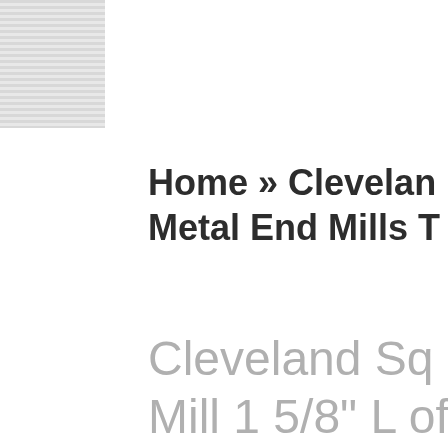[Figure (other): Thumbnail image placeholder with horizontal striped pattern, gray tones]
Home » Cleveland Metal End Mills To
Cleveland Sq Mill 1 5/8" L of Type C43000